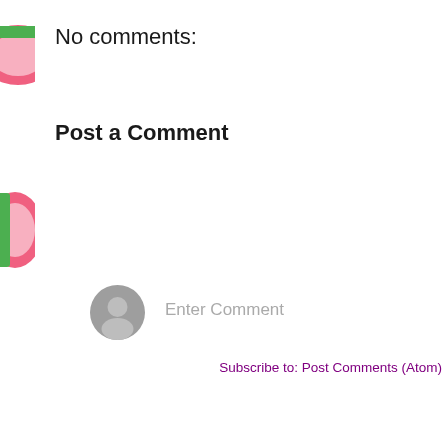No comments:
Post a Comment
[Figure (screenshot): Comment input field with gray avatar icon and placeholder text 'Enter Comment']
[Figure (illustration): Tropical fruit pattern background with watermelons, pineapples, and pink citrus slices]
[Figure (other): Black redacted/censored bar covering content]
Subscribe to: Post Comments (Atom)
Purell Back To School Gift Guide 2022
Back To School is here and to be protected from germs it means n... things down at school, and using hand sanitizer. ...